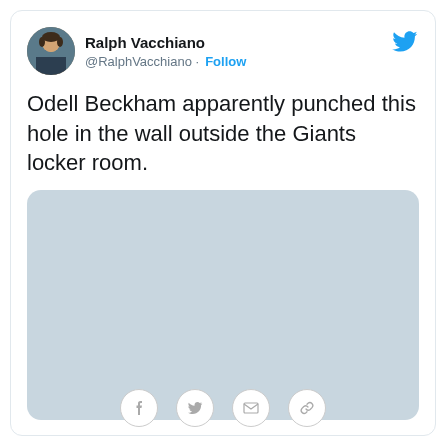Ralph Vacchiano @RalphVacchiano · Follow
Odell Beckham apparently punched this hole in the wall outside the Giants locker room.
[Figure (photo): Gray placeholder image for a photo embedded in tweet]
[Figure (infographic): Share bar with Facebook, Twitter, email, and link icons at bottom of tweet card]